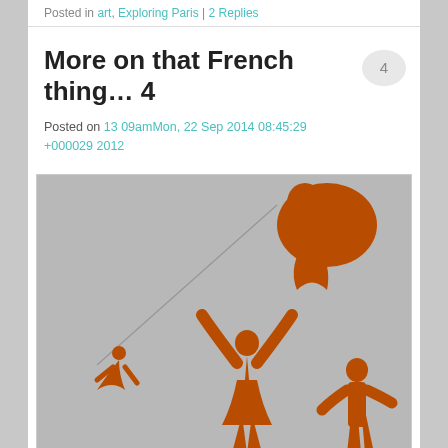Posted in art, Exploring Paris | 2 Replies
More on that French thing… 4
Posted on 13 09amMon, 22 Sep 2014 08:45:29 +000029 2012
[Figure (photo): Art installation silhouettes of human figures in orange/rust color against a gray background. One figure appears to be flying or floating diagonally on a wire/string (lower left), another larger silhouette is near the top right, and two figures are at the bottom right — one with arms raised and one standing.]